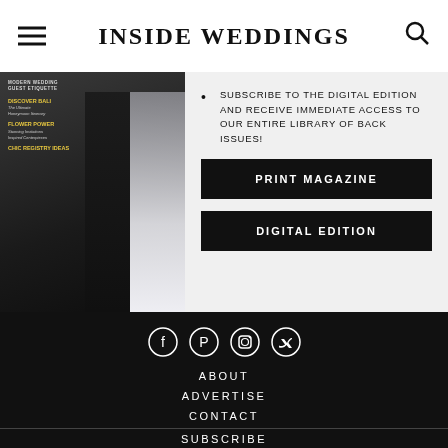INSIDE WEDDINGS
[Figure (photo): Magazine cover showing a bride in a white lace gown and groom in black suit]
SUBSCRIBE TO THE DIGITAL EDITION AND RECEIVE IMMEDIATE ACCESS TO OUR ENTIRE LIBRARY OF BACK ISSUES!
PRINT MAGAZINE
DIGITAL EDITION
[Figure (infographic): Social media icons: Facebook, Pinterest, Instagram, Twitter in circles]
ABOUT
ADVERTISE
CONTACT
SUBSCRIBE